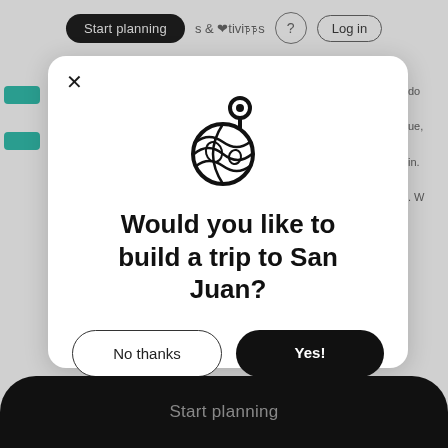Start planning  &  Activities  ?  Log in
[Figure (screenshot): A modal dialog on a travel website asking 'Would you like to build a trip to San Juan?' with a globe/map pin icon, a 'No thanks' outline button, and a 'Yes!' filled black button. Background shows a travel site UI with teal elements and a dark 'Start planning' bottom bar.]
Would you like to build a trip to San Juan?
No thanks
Yes!
Start planning